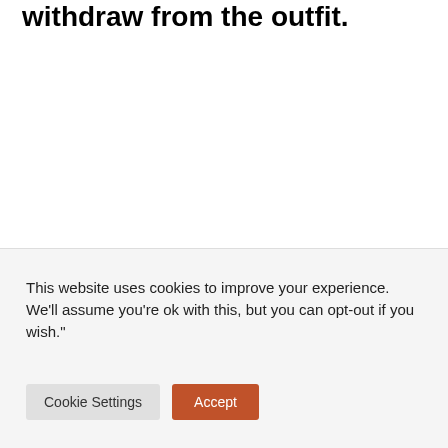withdraw from the outfit.
This website uses cookies to improve your experience. We'll assume you're ok with this, but you can opt-out if you wish."
Cookie Settings
Accept